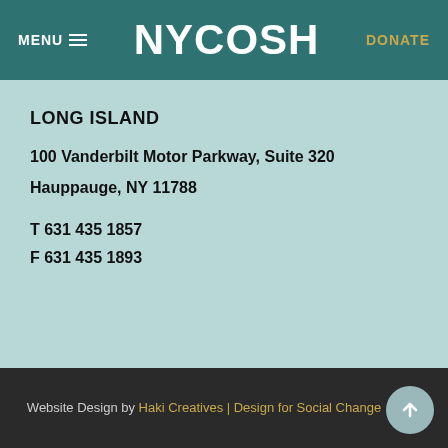MENU  NYCOSH  DONATE
LONG ISLAND
100 Vanderbilt Motor Parkway, Suite 320
Hauppauge, NY 11788
T 631 435 1857
F 631 435 1893
Website Design by Haki Creatives | Design for Social Change